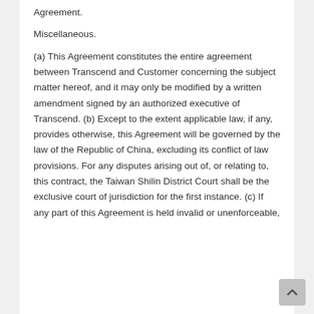Agreement.
Miscellaneous.
(a) This Agreement constitutes the entire agreement between Transcend and Customer concerning the subject matter hereof, and it may only be modified by a written amendment signed by an authorized executive of Transcend. (b) Except to the extent applicable law, if any, provides otherwise, this Agreement will be governed by the law of the Republic of China, excluding its conflict of law provisions. For any disputes arising out of, or relating to, this contract, the Taiwan Shilin District Court shall be the exclusive court of jurisdiction for the first instance. (c) If any part of this Agreement is held invalid or unenforceable,